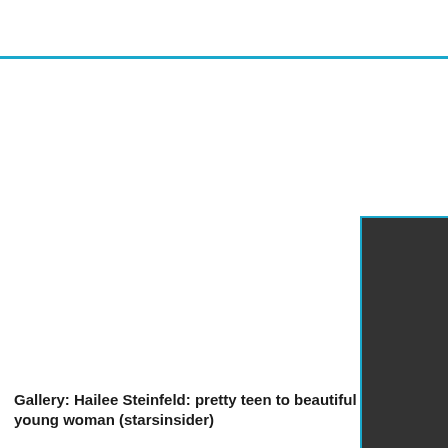[Figure (photo): Partial dark rectangular image visible at the right edge of the page, with a cyan/teal border on the left and bottom sides. The image appears to be cropped, showing only a dark portion.]
Gallery: Hailee Steinfeld: pretty teen to beautiful young woman (starsinsider)